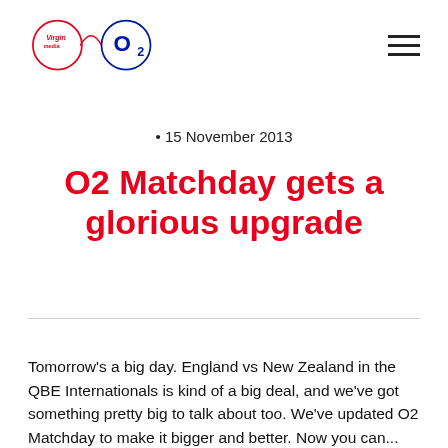Virgin Media O2 logo and navigation menu
• 15 November 2013
O2 Matchday gets a glorious upgrade
Tomorrow's a big day. England vs New Zealand in the QBE Internationals is kind of a big deal, and we've got something pretty big to talk about too. We've updated O2 Matchday to make it bigger and better. Now you can...